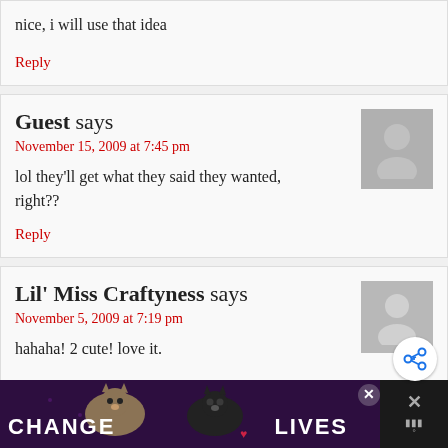nice, I will use that idea
Reply
Guest says
November 15, 2009 at 7:45 pm
lol they'll get what they said they wanted, right??
Reply
Lil' Miss Craftyness says
November 5, 2009 at 7:19 pm
hahaha! 2 cute! love it.
Reply
[Figure (infographic): CHANGE LIVES ad banner with cats, purple background]